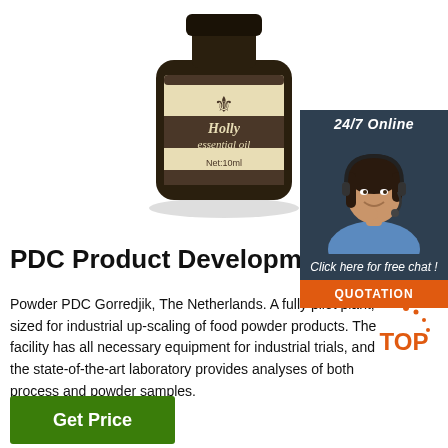[Figure (photo): Dark glass bottle of Holly essential oil, Net:10ml, with a cream-colored label and fleur-de-lis symbol, on white background]
[Figure (photo): 24/7 Online chat widget showing a smiling female customer service agent wearing a headset, with dark teal background, 'Click here for free chat!' text in italic, and an orange QUOTATION button]
PDC Product Development
Powder PDC Gorredjik, The Netherlands. A fully pilot plant, sized for industrial up-scaling of food powder products. The facility has all necessary equipment for industrial trials, and the state-of-the-art laboratory provides analyses of both process and powder samples.
[Figure (logo): TOP badge with orange dots above the word TOP in orange on white]
Get Price